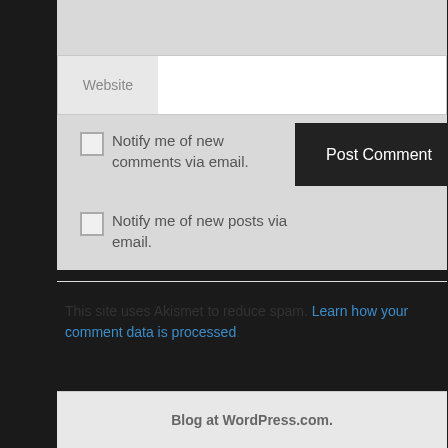[Figure (screenshot): Website form field with label 'Website' on left and empty white input box on right]
Notify me of new comments via email.
Notify me of new posts via email.
This site uses Akismet to reduce spam. Learn how your comment data is processed.
Blog at WordPress.com.